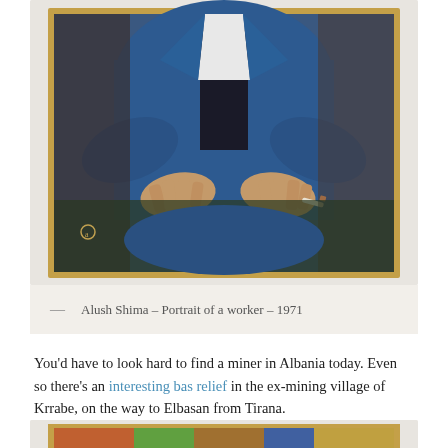[Figure (photo): A painting by Alush Shima showing a seated worker in a blue jacket with hands resting on knees, one hand holding a cigarette. The painting has a wooden frame and is displayed against a light wall.]
— Alush Shima – Portrait of a worker – 1971
You'd have to look hard to find a miner in Albania today. Even so there's an interesting bas relief in the ex-mining village of Krrabe, on the way to Elbasan from Tirana.
[Figure (photo): A second painting in a wooden frame showing a group scene, partially visible at the bottom of the page.]